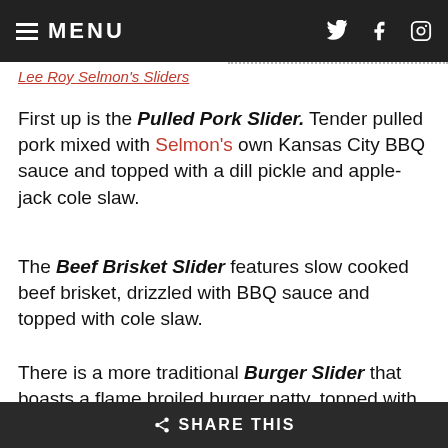MENU
Lee Roy Selmon's Sliders
First up is the Pulled Pork Slider. Tender pulled pork mixed with Selmon's own Kansas City BBQ sauce and topped with a dill pickle and apple-jack cole slaw.
The Beef Brisket Slider features slow cooked beef brisket, drizzled with BBQ sauce and topped with cole slaw.
There is a more traditional Burger Slider that boasts a flame broiled burger patty, topped with cheddar cheese, yellow mustard, ketchup and pickles.
SHARE THIS